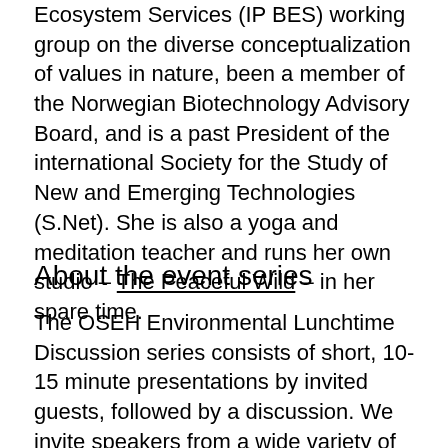Ecosystem Services (IP BES) working group on the diverse conceptualization of values in nature, been a member of the Norwegian Biotechnology Advisory Board, and is a past President of the international Society for the Study of New and Emerging Technologies (S.Net). She is also a yoga and meditation teacher and runs her own studio – The Peaceful Wild – in her spare time.
About the event series
The OSEH Environmental Lunchtime Discussion series consists of short, 10-15 minute presentations by invited guests, followed by a discussion. We invite speakers from a wide variety of fields, both academic and beyond. The presentations are